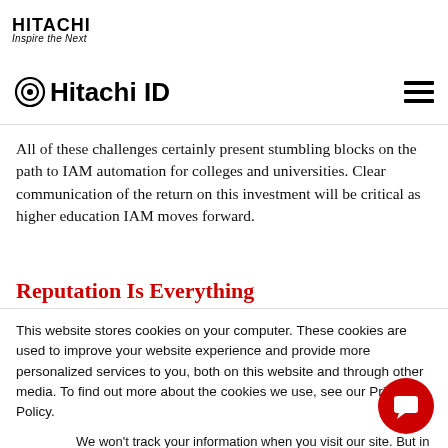HITACHI Inspire the Next
Hitachi ID
All of these challenges certainly present stumbling blocks on the path to IAM automation for colleges and universities. Clear communication of the return on this investment will be critical as higher education IAM moves forward.
Reputation Is Everything
This website stores cookies on your computer. These cookies are used to improve your website experience and provide more personalized services to you, both on this website and through other media. To find out more about the cookies we use, see our Privacy Policy.
We won't track your information when you visit our site. But in order to comply with your preferences, we'll have to use just one tiny cookie so that you're not asked to make this choice again.